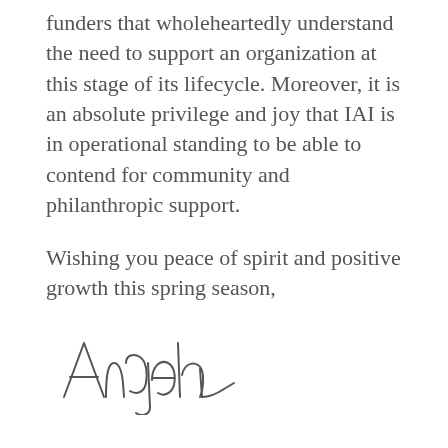funders that wholeheartedly understand the need to support an organization at this stage of its lifecycle. Moreover, it is an absolute privilege and joy that IAI is in operational standing to be able to contend for community and philanthropic support.
Wishing you peace of spirit and positive growth this spring season,
[Figure (illustration): Handwritten cursive signature reading 'Angela']